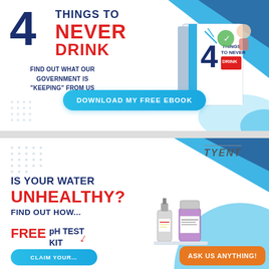[Figure (infographic): Top ad banner: '4 THINGS TO NEVER DRINK - Find out what our government is keeping from us' with book cover image and Download My Free Ebook button. White background with blue geometric shapes.]
[Figure (infographic): Bottom ad banner: Tyent brand. 'IS YOUR WATER UNHEALTHY? FIND OUT HOW... FREE pH TEST KIT' with blue triangles top right, pH test kit bottles image, Claim Your button, and orange Ask Us Anything button.]